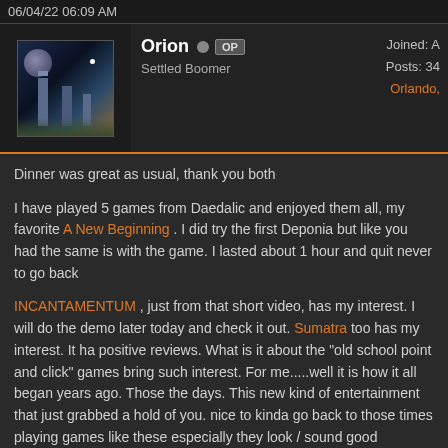06/04/22 06:09 AM
Orion OP
Settled Boomer
Joined: A
Posts: 34
Orlando,
Dinner was great as usual, thank you both

I have played 5 games from Daedalic and enjoyed them all, my favorite being A New Beginning . I did try the first Deponia but like you had the same issue with the game. I lasted about 1 hour and quit never to go back

INCANTAMENTUM , just from that short video, has my interest. I will download the demo later today and check it out. Sumatra too has my interest. It has positive reviews. What is it about the "old school point and click" games that bring such interest. For me.....well it is how it all began years ago. Those were the days. This new kind of entertainment that just grabbed a hold of you. Its nice to kinda go back to those times playing games like these especially when they look / sound good

I find it really nice that GB has developers that come here to post, really cool.......I think it shows you that they really care about those here interested in their works. The added info they sometimes provide is appreciated for sure. Shaun9991 offering free games......I mean you just don't see that. These are the developers you need to support

Time for some breakfast.....I think 2 pieces of toast with All Fruit jelly, sm